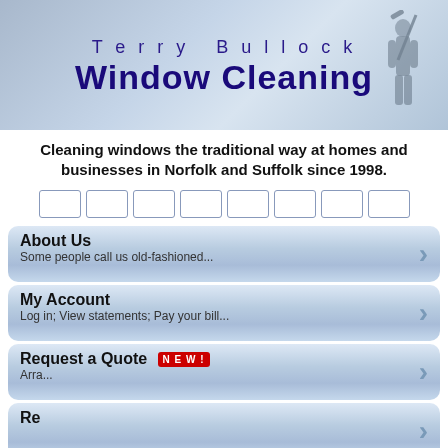[Figure (illustration): Terry Bullock Window Cleaning header banner with sky/cloud background and silhouette of person with squeegee. Text reads 'Terry Bullock' and 'Window Cleaning' in dark blue.]
Cleaning windows the traditional way at homes and businesses in Norfolk and Suffolk since 1998.
[Figure (other): Row of 8 small empty navigation box buttons]
About Us
Some people call us old-fashioned...
My Account
Log in; View statements; Pay your bill...
Request a Quote NEW!
Arrange...
Re...
Are
From Acle to Yelverton...
Sorry, but due to our current workload we're unable to take on any new customers at present.